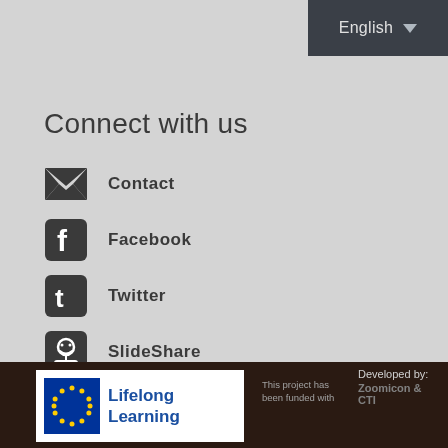[Figure (screenshot): Language selector dropdown in dark header bar showing 'English' with dropdown arrow]
Connect with us
Contact
Facebook
Twitter
SlideShare
[Figure (logo): Lifelong Learning Programme EU logo with European flag stars on blue background and text 'Lifelong Learning']
This project has been funded with
Developed by: Zoomicon & CTI